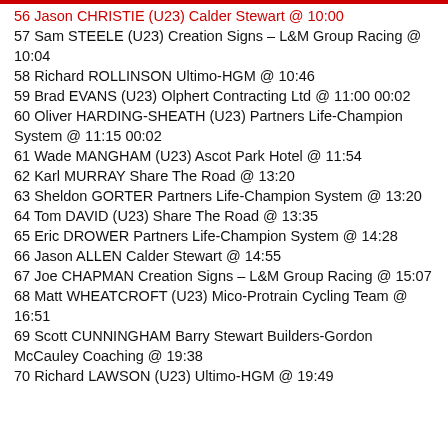56 Jason CHRISTIE (U23) Calder Stewart @ 10:00
57 Sam STEELE (U23) Creation Signs – L&M Group Racing @ 10:04
58 Richard ROLLINSON Ultimo-HGM @ 10:46
59 Brad EVANS (U23) Olphert Contracting Ltd @ 11:00 00:02
60 Oliver HARDING-SHEATH (U23) Partners Life-Champion System @ 11:15 00:02
61 Wade MANGHAM (U23) Ascot Park Hotel @ 11:54
62 Karl MURRAY Share The Road @ 13:20
63 Sheldon GORTER Partners Life-Champion System @ 13:20
64 Tom DAVID (U23) Share The Road @ 13:35
65 Eric DROWER Partners Life-Champion System @ 14:28
66 Jason ALLEN Calder Stewart @ 14:55
67 Joe CHAPMAN Creation Signs – L&M Group Racing @ 15:07
68 Matt WHEATCROFT (U23) Mico-Protrain Cycling Team @ 16:51
69 Scott CUNNINGHAM Barry Stewart Builders-Gordon McCauley Coaching @ 19:38
70 Richard LAWSON (U23) Ultimo-HGM @ 19:49